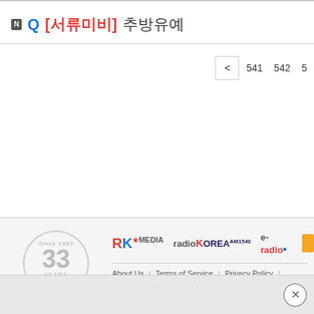N Q [서류미비] 추방유예
< 541 542 5
[Figure (logo): RK Media 33 Years Since 1989 logo with laurel wreath circle]
[Figure (logo): RK MEDIA logo]
[Figure (logo): radioKOREA logo]
[Figure (logo): e-radio logo]
About Us | Terms of Service | Privacy Policy | Disclaimer |
Copyright 2022 © RK Media, All Rights Reserved.   TEL (21
×